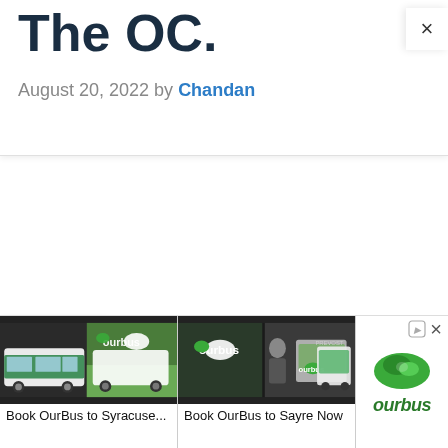The OC.
August 20, 2022 by Chandan
[Figure (screenshot): Close button (×) in upper right corner of overlay panel]
[Figure (screenshot): Dropdown chevron button (∨) at bottom left]
[Figure (screenshot): OurBus advertisement banner showing two bus image slots: 'Book OurBus to Syracuse...' and 'Book OurBus to Sayre Now', with ourbus logo on the right]
Book OurBus to Syracuse...
Book OurBus to Sayre Now